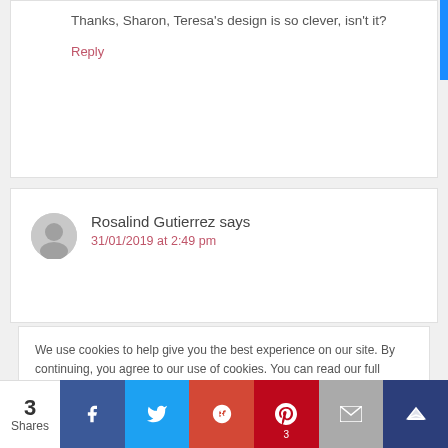Thanks, Sharon, Teresa's design is so clever, isn't it?
Reply
Rosalind Gutierrez says
31/01/2019 at 2:49 pm
We use cookies to help give you the best experience on our site. By continuing, you agree to our use of cookies. You can read our full privacy policy, with details on how we use your personal data, by clicking on the following link. Privacy and Cookie Policy
3 Shares